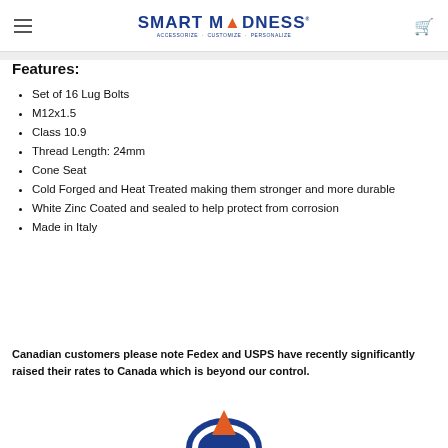Smart Madness — Accessorize · Customize · Personalize
Features:
Set of 16 Lug Bolts
M12x1.5
Class 10.9
Thread Length: 24mm
Cone Seat
Cold Forged and Heat Treated making them stronger and more durable
White Zinc Coated and sealed to help protect from corrosion
Made in Italy
Canadian customers please note Fedex and USPS have recently significantly raised their rates to Canada which is beyond our control.
[Figure (logo): Partial view of Smart Madness logo at bottom of page]